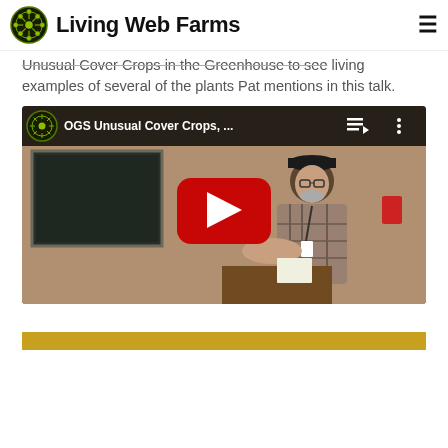Living Web Farms
Unusual Cover Crops in the Greenhouse to see living examples of several of the plants Pat mentions in this talk.
[Figure (screenshot): YouTube video embed showing a man in a plaid shirt and cap presenting at a podium in front of a chalkboard; video title reads 'OGS Unusual Cover Crops, ...' with Living Web Farms logo, play/queue icons visible in the header bar. A red YouTube play button is centered on the video.]